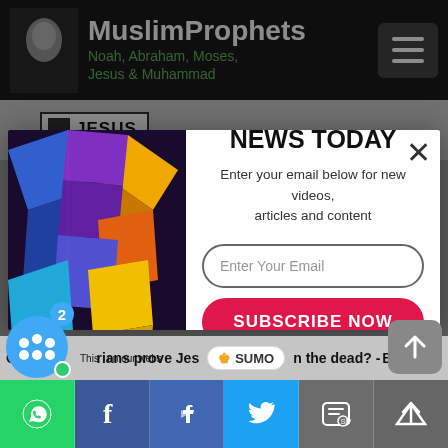MuslimProphets — Noah, Abraham, Moses, Jesus & Muhammad
JESUS
[Figure (screenshot): Colorful 3D geometric shapes — abstract cuboid illustration in vibrant blue, orange, yellow, purple, and pink]
GET THE LATEST NEWS TODAY
Enter your email below for new videos, articles and content
Enter Your Email
SUBSCRIBE NOW
No Thanks
Can historians prove Jes… n the dead? - Ba…
This … on our webs…